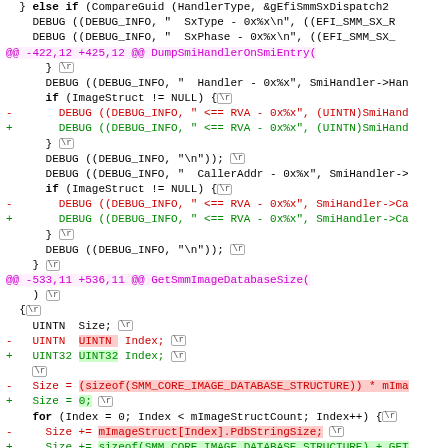} else if (CompareGuid (HandlerType, &gEfiSmmSxDispatch2...
DEBUG ((DEBUG_INFO, "  SxType - 0x%x\n", ((EFI_SMM_SX_R...
DEBUG ((DEBUG_INFO, "  SxPhase - 0x%x\n", ((EFI_SMM_SX_...
@@ -422,12 +425,12 @@ DumpSmiHandlerOnSmiEntry(
} \r
    DEBUG ((DEBUG_INFO, "  Handler - 0x%x", SmiHandler->Han...
    if (ImageStruct != NULL) { \r
-    DEBUG ((DEBUG_INFO, " <== RVA - 0x%x", (UINTN)SmiHand...
+    DEBUG ((DEBUG_INFO, " <== RVA - 0x%x", (UINTN)SmiHand...
    } \r
    DEBUG ((DEBUG_INFO, "\n")); \r
    DEBUG ((DEBUG_INFO, "  CallerAddr - 0x%x", SmiHandler->...
    if (ImageStruct != NULL) { \r
-    DEBUG ((DEBUG_INFO, " <== RVA - 0x%x", SmiHandler->Ca...
+    DEBUG ((DEBUG_INFO, " <== RVA - 0x%x", SmiHandler->Ca...
    } \r
    DEBUG ((DEBUG_INFO, "\n")); \r
  } \r
@@ -533,11 +536,11 @@ GetSmmImageDatabaseSize(
) \r
  { \r
    UINTN  Size; \r
-   UINTN  Index; \r
+   UINT32 Index; \r
    \r
-   Size = (sizeof(SMM_CORE_IMAGE_DATABASE_STRUCTURE)) * mIma...
+   Size = 0; \r
    for (Index = 0; Index < mImageStructCount; Index++) { \r
-     Size += mImageStruct[Index].PdbStringSize; \r
+     Size += sizeof(SMM_CORE_IMAGE_DATABASE_STRUCTURE) + GET...
    } \r
    return Size; \r